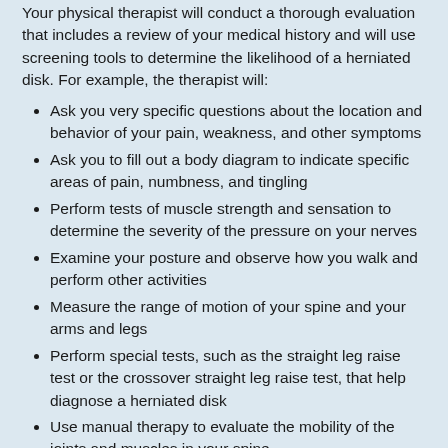Your physical therapist will conduct a thorough evaluation that includes a review of your medical history and will use screening tools to determine the likelihood of a herniated disk. For example, the therapist will:
Ask you very specific questions about the location and behavior of your pain, weakness, and other symptoms
Ask you to fill out a body diagram to indicate specific areas of pain, numbness, and tingling
Perform tests of muscle strength and sensation to determine the severity of the pressure on your nerves
Examine your posture and observe how you walk and perform other activities
Measure the range of motion of your spine and your arms and legs
Perform special tests, such as the straight leg raise test or the crossover straight leg raise test, that help diagnose a herniated disk
Use manual therapy to evaluate the mobility of the joints and muscles in your spine
Test the strength of important muscle groups
If you have muscle weakness and loss of sensation or very severe pain, special diagnostic tests, such as magnetic resonance imaging (MRI), electromyography, or nerve conduction studies may be needed. Physical therapists